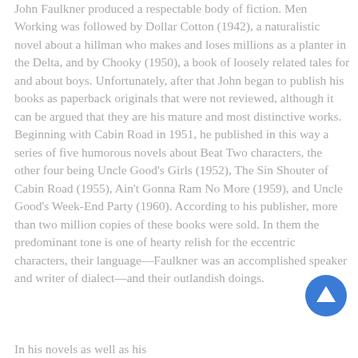John Faulkner produced a respectable body of fiction. Men Working was followed by Dollar Cotton (1942), a naturalistic novel about a hillman who makes and loses millions as a planter in the Delta, and by Chooky (1950), a book of loosely related tales for and about boys. Unfortunately, after that John began to publish his books as paperback originals that were not reviewed, although it can be argued that they are his mature and most distinctive works. Beginning with Cabin Road in 1951, he published in this way a series of five humorous novels about Beat Two characters, the other four being Uncle Good's Girls (1952), The Sin Shouter of Cabin Road (1955), Ain't Gonna Ram No More (1959), and Uncle Good's Week-End Party (1960). According to his publisher, more than two million copies of these books were sold. In them the predominant tone is one of hearty relish for the eccentric characters, their language—Faulkner was an accomplished speaker and writer of dialect—and their outlandish doings.
In his novels as well as his